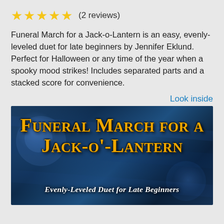★★★★★ (2 reviews)
Funeral March for a Jack-o-Lantern is an easy, evenly-leveled duet for late beginners by Jennifer Eklund. Perfect for Halloween or any time of the year when a spooky mood strikes! Includes separated parts and a stacked score for convenience.
Look inside
[Figure (illustration): Book cover image showing 'Funeral March for a Jack-o-Lantern, Evenly-Leveled Duet for Late Beginners' with orange stylized text on a dark blue atmospheric background]